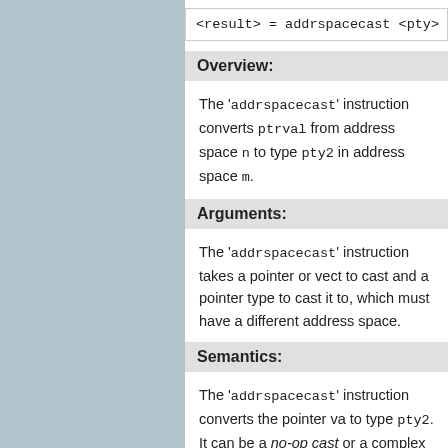<result> = addrspacecast <pty> <ptrval> to
Overview:
The 'addrspacecast' instruction converts ptrval from address space n to type pty2 in address space m.
Arguments:
The 'addrspacecast' instruction takes a pointer or vector to cast and a pointer type to cast it to, which must have a different address space.
Semantics:
The 'addrspacecast' instruction converts the pointer value to type pty2. It can be a no-op cast or a complex value modification, depending on the target and the address space pair. Pointer conversions within the same address space must be performed with the bitcast instruction. Note that if the address space conversion is a no-op, the result and operand refer to the same memory location.